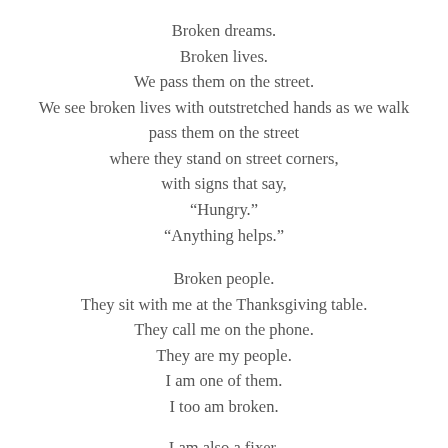Broken dreams.
Broken lives.
We pass them on the street.
We see broken lives with outstretched hands as we walk
pass them on the street
where they stand on street corners,
with signs that say,
“Hungry.”
“Anything helps.”

Broken people.
They sit with me at the Thanksgiving table.
They call me on the phone.
They are my people.
I am one of them.
I too am broken.

I am also a fixer.